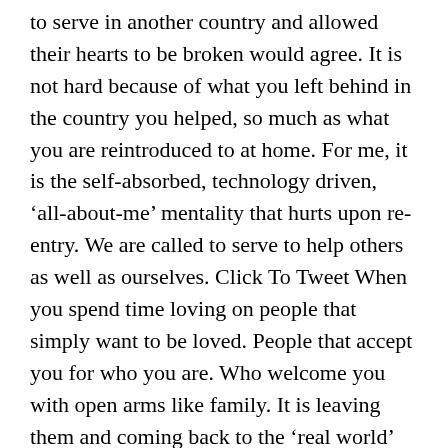to serve in another country and allowed their hearts to be broken would agree. It is not hard because of what you left behind in the country you helped, so much as what you are reintroduced to at home. For me, it is the self-absorbed, technology driven, ‘all-about-me’ mentality that hurts upon re-entry. We are called to serve to help others as well as ourselves. Click To Tweet When you spend time loving on people that simply want to be loved. People that accept you for who you are. Who welcome you with open arms like family. It is leaving them and coming back to the ‘real world’ that is hard. I think God chooses people to go on mission trips for varied reasons. Everyone is different on the way they are impacted. If you allow the scales to fall from your eyes to see what God has in store for you. It is when you allow Him to soften your heart that you too will be forever changed and find your purpose, Indeed. He…